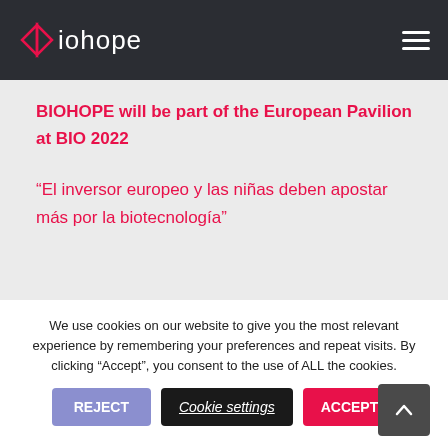Biohope
BIOHOPE will be part of the European Pavilion at BIO 2022
“El inversor europeo y las niñas deben apostar más por la biotecnología”
We use cookies on our website to give you the most relevant experience by remembering your preferences and repeat visits. By clicking “Accept”, you consent to the use of ALL the cookies.